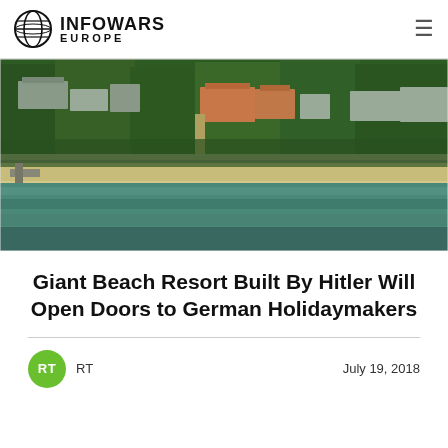INFOWARS EUROPE
[Figure (photo): Aerial photograph of a large coastal resort complex surrounded by forest, with a sandy beach and green sea in the foreground. Multiple large buildings visible among trees.]
Giant Beach Resort Built By Hitler Will Open Doors to German Holidaymakers
RT · July 19, 2018